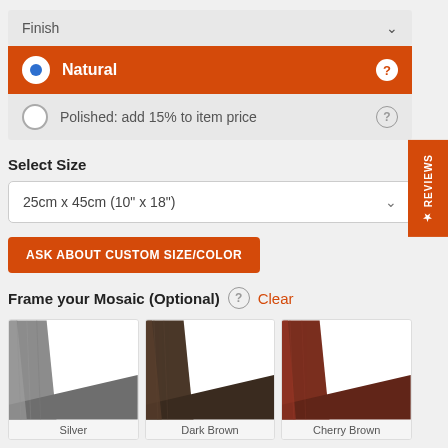Finish (dropdown)
Natural (selected)
Polished: add 15% to item price
Select Size
25cm x 45cm (10" x 18")
ASK ABOUT CUSTOM SIZE/COLOR
Frame your Mosaic (Optional)
Silver
Dark Brown
Cherry Brown
★ REVIEWS